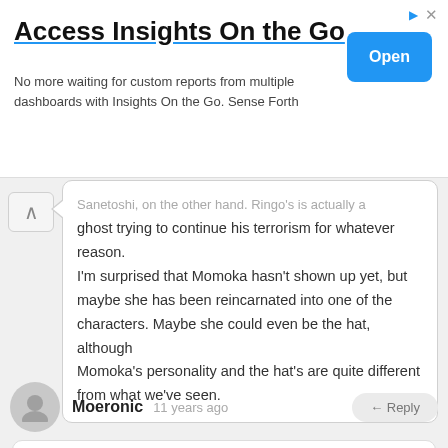[Figure (infographic): Advertisement banner: 'Access Insights On the Go' with Open button]
...Sanetoshi, on the other hand. Ringo's also actually a ghost trying to continue his terrorism for whatever reason. I'm surprised that Momoka hasn't shown up yet, but maybe she has been reincarnated into one of the characters. Maybe she could even be the hat, although Momoka's personality and the hat's are quite different from what we've seen.
Moeronic  11 years ago  ← Reply
I agree, at least with regards to Kenzan. Kanba is being guided by his delusions, taking the form of an alive Kenzan. Sanetoshi on the other hand is 'supernatural' in the same way that Momoka is first and it is basically Sanetoshi is a ghost but...